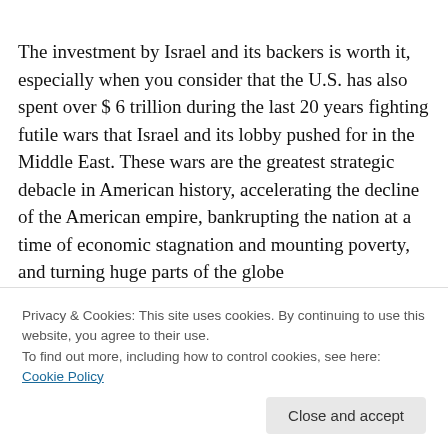The investment by Israel and its backers is worth it, especially when you consider that the U.S. has also spent over $ 6 trillion during the last 20 years fighting futile wars that Israel and its lobby pushed for in the Middle East. These wars are the greatest strategic debacle in American history, accelerating the decline of the American empire, bankrupting the nation at a time of economic stagnation and mounting poverty, and turning huge parts of the globe
Privacy & Cookies: This site uses cookies. By continuing to use this website, you agree to their use.
To find out more, including how to control cookies, see here: Cookie Policy
outside Israel. This steady shift to the far-right in Israel